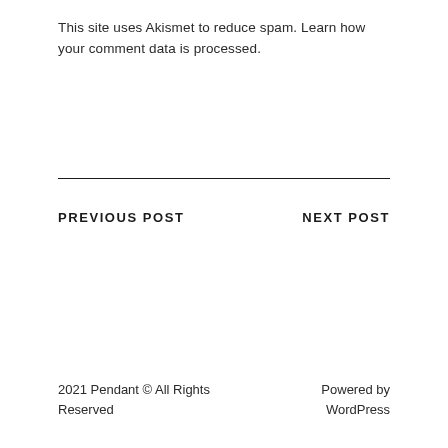This site uses Akismet to reduce spam. Learn how your comment data is processed.
PREVIOUS POST
NEXT POST
2021 Pendant © All Rights Reserved
Powered by WordPress